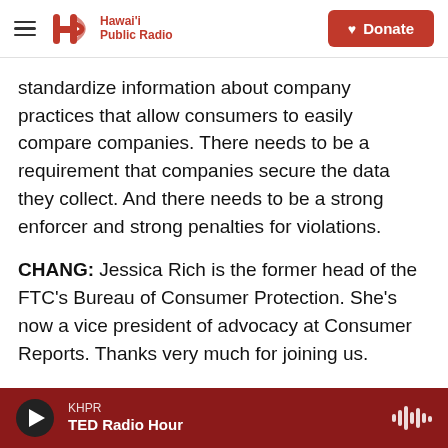Hawai'i Public Radio — Donate
standardize information about company practices that allow consumers to easily compare companies. There needs to be a requirement that companies secure the data they collect. And there needs to be a strong enforcer and strong penalties for violations.
CHANG: Jessica Rich is the former head of the FTC's Bureau of Consumer Protection. She's now a vice president of advocacy at Consumer Reports. Thanks very much for joining us.
RICH: Thanks for having me, Ailsa.  Transcript
KHPR — TED Radio Hour